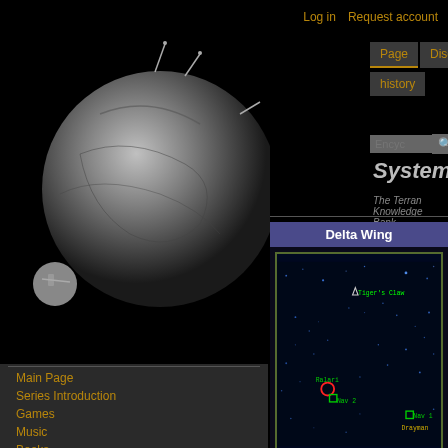Log in  Request account
[Figure (photo): Wing Commander wiki logo - metallic space station/planet sphere on black background]
Page  Discussion  history
System)
The Terran Knowledge Bank
[Figure (screenshot): Star map showing Delta Wing with labeled navigation points: Tiger's Claw (ship marker), Ralari (red circle), Nav 2 (green square), Nav 1 (green square), Drayman. Blue star dots scattered across dark navy/black space background.]
Main Page
Series Introduction
Games
Music
Books
Academy TV
WC Movie
Downloads (Patches, Editors, Manuals...)
Fan Content Area
More...
Terran Knowledge Bank
Main Page
Ships